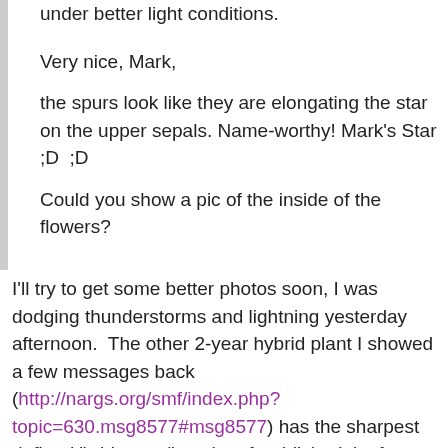under better light conditions.
Very nice, Mark,
the spurs look like they are elongating the star on the upper sepals. Name-worthy! Mark's Star ;D  ;D
Could you show a pic of the inside of the flowers?
I'll try to get some better photos soon, I was dodging thunderstorms and lightning yesterday afternoon.  The other 2-year hybrid plant I showed a few messages back (http://nargs.org/smf/index.php?topic=630.msg8577#msg8577) has the sharpest defined "white star" on the of reddish-pink of any hybrid I've seen.  One reason I bought E. 'Starlet', another of Diana Reeck's (Collectors Nursery)